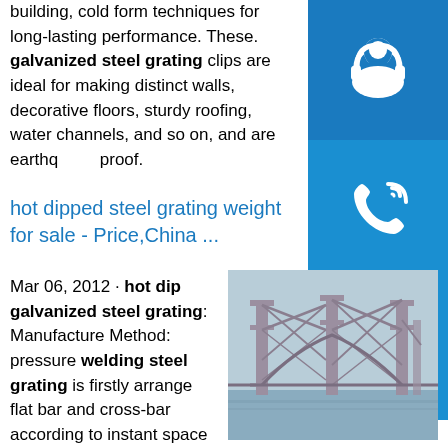building, cold form techniques for long-lasting performance. These. galvanized steel grating clips are ideal for making distinct walls, decorative floors, sturdy roofing, water channels, and so on, and are earthquake proof.
hot dipped steel grating weight for sale - Price,China ...
Mar 06, 2012 · hot dip galvanized steel grating: Manufacture Method: pressure welding steel grating is firstly arrange flat bar and cross-bar according to instant space and main points, and then welded by 200 ton hydraulic resistance auto welding equipment, cutting, scallop, edging to be the products that customers request.. Common Specifications: bearing flat bar space: center to center commonly is …
[Figure (photo): Photo of a large steel truss bridge (resembling the Forth Bridge) spanning over water, with lattice steel framework visible]